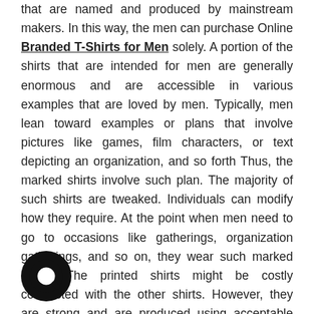that are named and produced by mainstream makers. In this way, the men can purchase Online Branded T-Shirts for Men solely. A portion of the shirts that are intended for men are generally enormous and are accessible in various examples that are loved by men. Typically, men lean toward examples or plans that involve pictures like games, film characters, or text depicting an organization, and so forth Thus, the marked shirts involve such plan. The majority of such shirts are tweaked. Individuals can modify how they require. At the point when men need to go to occasions like gatherings, organization gatherings, and so on, they wear such marked shirts. The printed shirts might be costly contrasted with the other shirts. However, they are strong and are produced using acceptable quality.

Individuals like to wear such shirts since they are sturdy, though ordinary shirts can be utilized for a more limited
[Figure (logo): Black circular logo/icon overlapping the text paragraph]